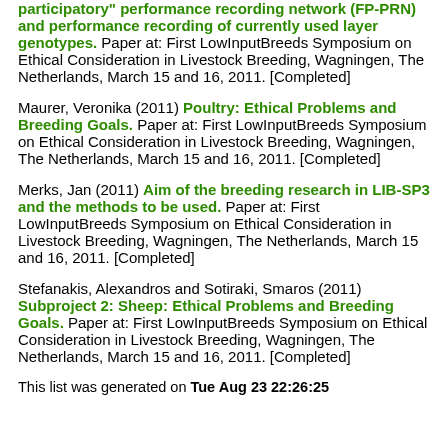participatory" performance recording network (FP-PRN) and performance recording of currently used layer genotypes. Paper at: First LowInputBreeds Symposium on Ethical Consideration in Livestock Breeding, Wagningen, The Netherlands, March 15 and 16, 2011. [Completed]
Maurer, Veronika (2011) Poultry: Ethical Problems and Breeding Goals. Paper at: First LowInputBreeds Symposium on Ethical Consideration in Livestock Breeding, Wagningen, The Netherlands, March 15 and 16, 2011. [Completed]
Merks, Jan (2011) Aim of the breeding research in LIB-SP3 and the methods to be used. Paper at: First LowInputBreeds Symposium on Ethical Consideration in Livestock Breeding, Wagningen, The Netherlands, March 15 and 16, 2011. [Completed]
Stefanakis, Alexandros and Sotiraki, Smaros (2011) Subproject 2: Sheep: Ethical Problems and Breeding Goals. Paper at: First LowInputBreeds Symposium on Ethical Consideration in Livestock Breeding, Wagningen, The Netherlands, March 15 and 16, 2011. [Completed]
This list was generated on Tue Aug 23 22:26:25